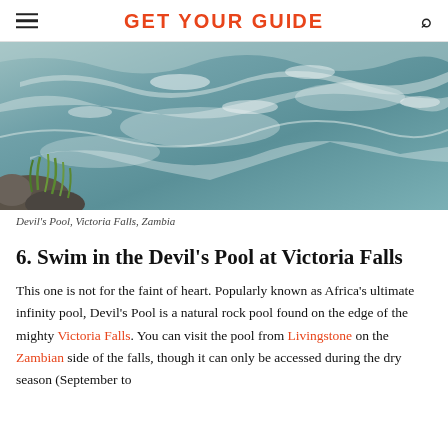GET YOUR GUIDE
[Figure (photo): Aerial/close view of turbulent rushing water at Devil's Pool, Victoria Falls, Zambia, with rocks and grass visible at lower left]
Devil's Pool, Victoria Falls, Zambia
6. Swim in the Devil's Pool at Victoria Falls
This one is not for the faint of heart. Popularly known as Africa's ultimate infinity pool, Devil's Pool is a natural rock pool found on the edge of the mighty Victoria Falls. You can visit the pool from Livingstone on the Zambian side of the falls, though it can only be accessed during the dry season (September to